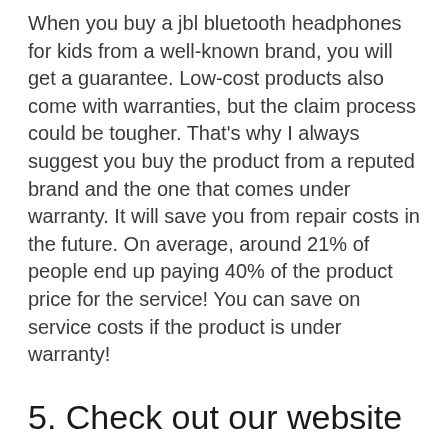When you buy a jbl bluetooth headphones for kids from a well-known brand, you will get a guarantee. Low-cost products also come with warranties, but the claim process could be tougher. That's why I always suggest you buy the product from a reputed brand and the one that comes under warranty. It will save you from repair costs in the future. On average, around 21% of people end up paying 40% of the product price for the service! You can save on service costs if the product is under warranty!
5. Check out our website
On our website we have experts in all categories and no matter what the product